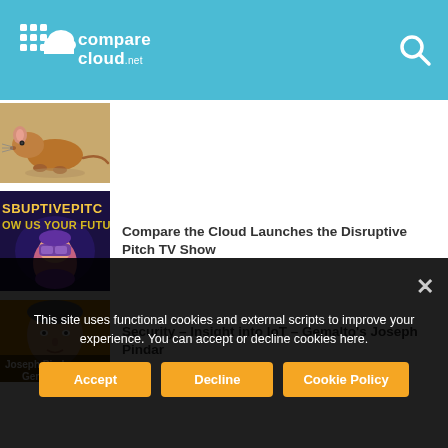comparecloud.net
[Figure (photo): Thumbnail image of a rat on sandy ground]
[Figure (photo): Thumbnail image with text 'SBUPTIVEPITCH OW US YOUR FUTUR' with a woman wearing VR headset illustration on dark background]
Compare the Cloud Launches the Disruptive Pitch TV Show
[Figure (photo): Thumbnail image of Joseph Pindar from Gemalto, headshot on gold/yellow background with text 'Joseph Pinda Gemalto']
Security – Insight into IoT – Gemalto's Joseph Pindar
This site uses functional cookies and external scripts to improve your experience. You can accept or decline cookies here.
Accept
Decline
Cookie Policy